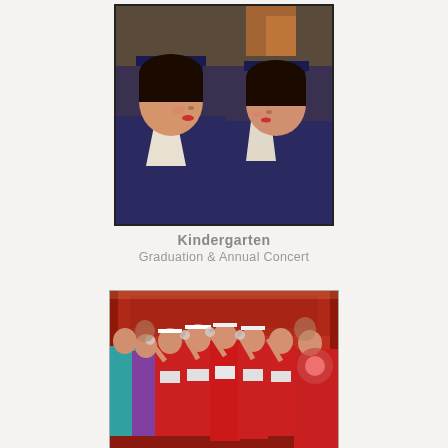[Figure (photo): Two young girls in kindergarten graduation caps and gowns (navy blue) looking forward, close-up portrait photo]
Kindergarten
Graduation & Annual Concert
[Figure (photo): Group of young children performing on stage at a concert, wearing colorful costumes including red dresses, in front of a red backdrop with Chinese characters]